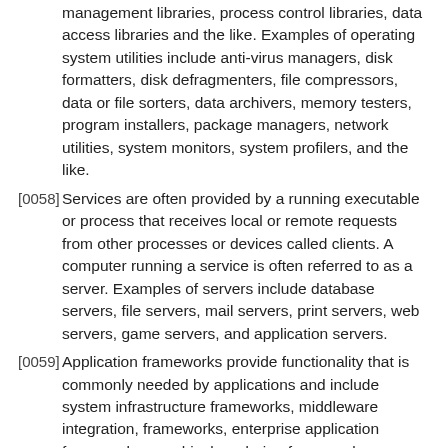management libraries, process control libraries, data access libraries and the like. Examples of operating system utilities include anti-virus managers, disk formatters, disk defragmenters, file compressors, data or file sorters, data archivers, memory testers, program installers, package managers, network utilities, system monitors, system profilers, and the like.
[0058] Services are often provided by a running executable or process that receives local or remote requests from other processes or devices called clients. A computer running a service is often referred to as a server. Examples of servers include database servers, file servers, mail servers, print servers, web servers, game servers, and application servers.
[0059] Application frameworks provide functionality that is commonly needed by applications and include system infrastructure frameworks, middleware integration, frameworks, enterprise application frameworks, graphical rendering frameworks, gaming frameworks, and the like. An application framework may support application development